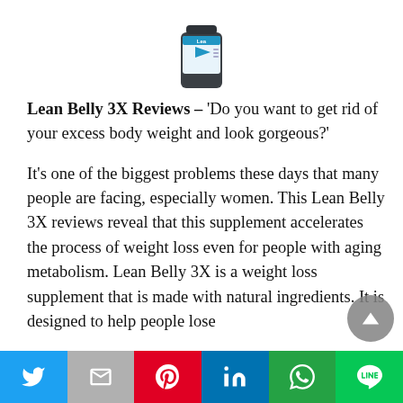[Figure (photo): Partially visible product bottle labeled 'Lean Belly' with blue and white label, cropped at top of page]
Lean Belly 3X Reviews – 'Do you want to get rid of your excess body weight and look gorgeous?'
It's one of the biggest problems these days that many people are facing, especially women. This Lean Belly 3X reviews reveal that this supplement accelerates the process of weight loss even for people with aging metabolism. Lean Belly 3X is a weight loss supplement that is made with natural ingredients. It is designed to help people lose
[Figure (infographic): Social media share bar at bottom with Twitter, Gmail/Email, Pinterest, LinkedIn, WhatsApp, and Line app buttons]